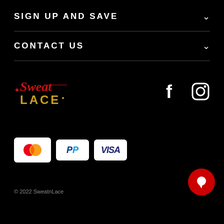SIGN UP AND SAVE
CONTACT US
[Figure (logo): SweatnLace brand logo in red/gold script and block letters on black background]
[Figure (illustration): Facebook and Instagram social media icons in white]
[Figure (illustration): Mastercard, PayPal, and Visa payment method badges]
© 2022 SweatnLace